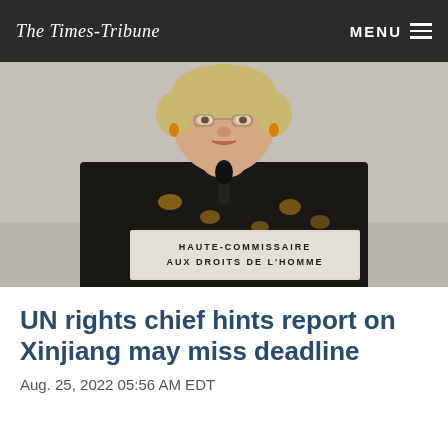The Times-Tribune | MENU
[Figure (photo): Woman speaking at a podium with a nameplate reading HAUTE-COMMISSAIRE AUX DROITS DE L'HOMME]
UN rights chief hints report on Xinjiang may miss deadline
Aug. 25, 2022 05:56 AM EDT